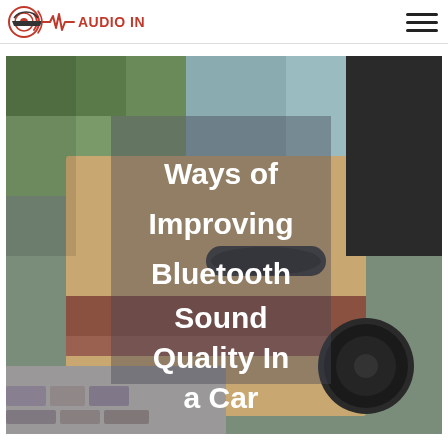Audio In Car
[Figure (photo): Car interior door panel photo with beige/tan upholstery, door handle, and speaker, with green foliage and paved driveway visible in background. Overlaid with bold white text title about Bluetooth sound quality.]
Ways of Improving Bluetooth Sound Quality In a Car